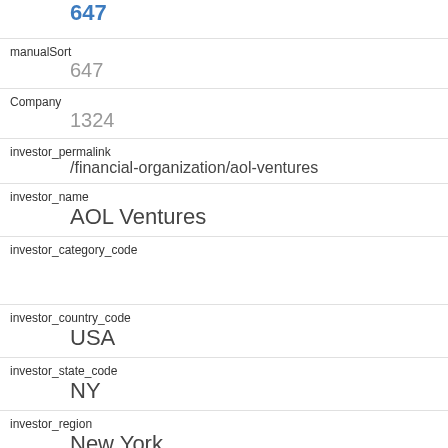647
| manualSort | 647 |
| Company | 1324 |
| investor_permalink | /financial-organization/aol-ventures |
| investor_name | AOL Ventures |
| investor_category_code |  |
| investor_country_code | USA |
| investor_state_code | NY |
| investor_region | New York |
| investor_city | New York |
| funding_round_type | series-a |